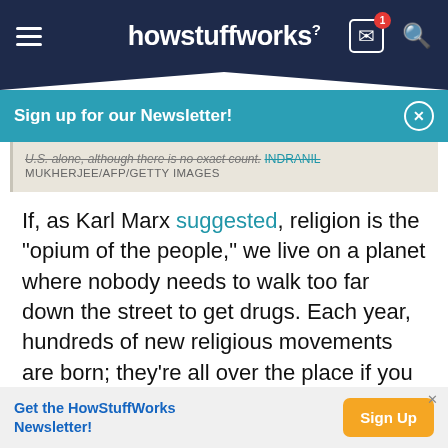howstuffworks
Sign up for our Newsletter!
U.S. alone, although there is no exact count. INDRANIL MUKHERJEE/AFP/GETTY IMAGES
If, as Karl Marx suggested, religion is the "opium of the people," we live on a planet where nobody needs to walk too far down the street to get drugs. Each year, hundreds of new religious movements are born; they're all over the place if you know where to look. Never mind that only a tiny fraction of them will survive — there's more where they came from.
Get the HowStuffWorks Newsletter!